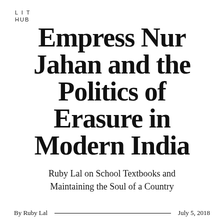L I T
HUB
Empress Nur Jahan and the Politics of Erasure in Modern India
Ruby Lal on School Textbooks and Maintaining the Soul of a Country
By Ruby Lal — July 5, 2018